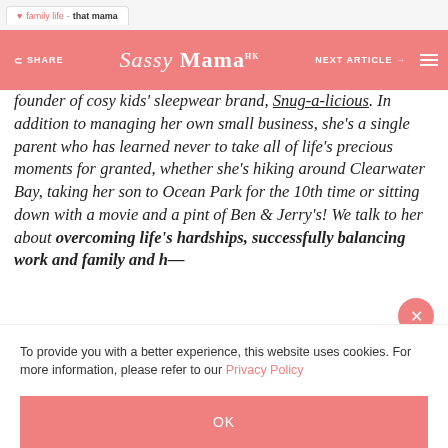family life - that mama
Sassy Mama HK | SHARE | NEXT ARTICLE
founder of cosy kids' sleepwear brand, Snug-a-licious. In addition to managing her own small business, she's a single parent who has learned never to take all of life's precious moments for granted, whether she's hiking around Clearwater Bay, taking her son to Ocean Park for the 10th time or sitting down with a movie and a pint of Ben & Jerry's! We talk to her about overcoming life's hardships, successfully balancing work and family and h—
To provide you with a better experience, this website uses cookies. For more information, please refer to our Privacy Policy
OK